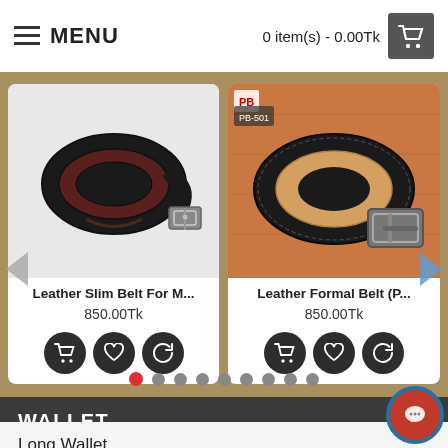MENU   0 item(s) - 0.00Tk
[Figure (photo): Product card showing a black leather slim belt coiled on white background, titled 'Leather Slim Belt For M...' priced at 850.00Tk with cart, wishlist, and compare buttons]
[Figure (photo): Product card showing a black leather formal belt (PB-501) with silver buckle on wooden surface, titled 'Leather Formal Belt (P...' priced at 850.00Tk with cart, wishlist, and compare buttons]
WALLET
Long Wallet